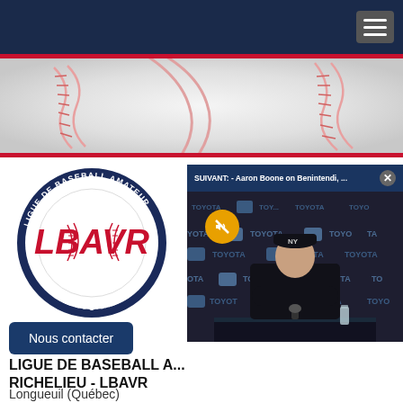Navigation bar with hamburger menu
[Figure (photo): Baseball close-up banner image showing white baseball with red stitching]
[Figure (logo): LBAVR - Ligue de Baseball Amateur de la Vallée du Richelieu circular logo with red and blue text]
[Figure (screenshot): Video overlay showing press conference with Aaron Boone. Header text: SUIVANT: - Aaron Boone on Benintendi, ... with close button and mute button]
Nous contacter
LIGUE DE BASEBALL AMATEUR DE LA VALLÉE DU RICHELIEU - LBAVR
Longueuil (Québec)